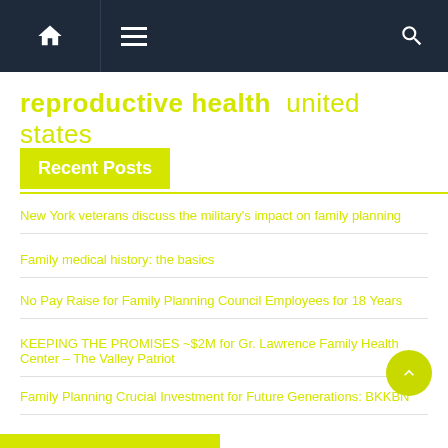Navigation bar with home, menu, and search icons
reproductive health united states
Recent Posts
New York veterans discuss the military's impact on family planning
Family medical history: the basics
No Pay Raise for Family Planning Council Employees for 18 Years
KEEPING THE PROMISES ~$2M for Gr. Lawrence Family Health Center – The Valley Patriot
Family Planning Crucial Investment for Future Generations: BKKBN